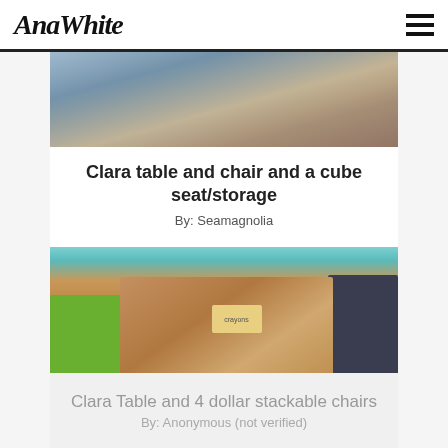AnaWhite
[Figure (photo): Partial photo at top of page, appears to show a room interior]
Clara table and chair and a cube seat/storage
By: Seamagnolia
[Figure (photo): Photo of a wooden children's table with colorful chairs: a teal/blue chair at back, a green chair on the left, a dark navy/charcoal chair on the right. A box of crayons sits on top of the wood-stained table. Christmas tree visible in background.]
Clara Table and 4 dollar stackable chairs
By: Anonymous (not verified)